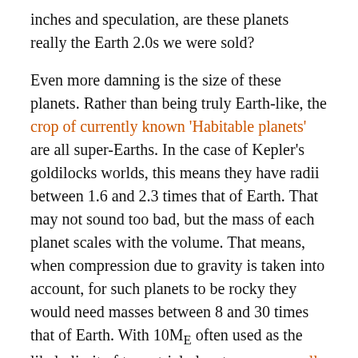inches and speculation, are these planets really the Earth 2.0s we were sold?
Even more damning is the size of these planets. Rather than being truly Earth-like, the crop of currently known 'Habitable planets' are all super-Earths. In the case of Kepler's goldilocks worlds, this means they have radii between 1.6 and 2.3 times that of Earth. That may not sound too bad, but the mass of each planet scales with the volume. That means, when compression due to gravity is taken into account, for such planets to be rocky they would need masses between 8 and 30 times that of Earth. With 10M_E often used as the likely limit of terrestrial planets, can we really call such planets Earth-like. In fact, a recent study of super-Earths put the maximum theoretical radius for a rocky planet as between 1.5 and 1.8R_E, with most worlds above this size likely being more like Mini-Neptunes.
So it appears our crop of habitable super-Earths may not